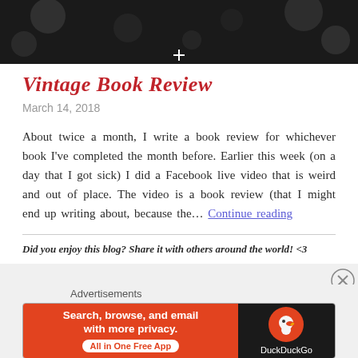[Figure (photo): Dark background photo strip with blurred bokeh lights, a small white cross/clover shape visible in the lower center area]
Vintage Book Review
March 14, 2018
About twice a month, I write a book review for whichever book I've completed the month before. Earlier this week (on a day that I got sick) I did a Facebook live video that is weird and out of place. The video is a book review (that I might end up writing about, because the… Continue reading
Did you enjoy this blog? Share it with others around the world! <3
Advertisements
[Figure (screenshot): DuckDuckGo advertisement banner: orange left side with 'Search, browse, and email with more privacy. All in One Free App' and dark right side with DuckDuckGo logo and duck icon]